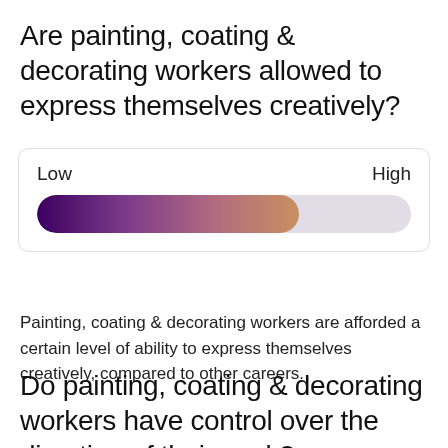Are painting, coating & decorating workers allowed to express themselves creatively?
[Figure (infographic): A horizontal gradient slider bar going from Low (left) to High (right). The filled portion covers approximately 70% of the bar, colored with a gradient from deep purple on the left through mauve/pink to a tan/gold color. The unfilled right portion is light gray. Labels 'Low' on left and 'High' on right appear above the bar. The bar is enclosed in a light gray bordered rounded rectangle.]
Painting, coating & decorating workers are afforded a certain level of ability to express themselves creatively, compared to other careers.
Do painting, coating & decorating workers have control over the direction of their work?